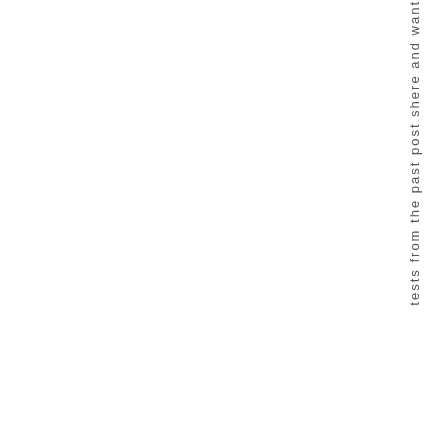tests from the past post she re and want